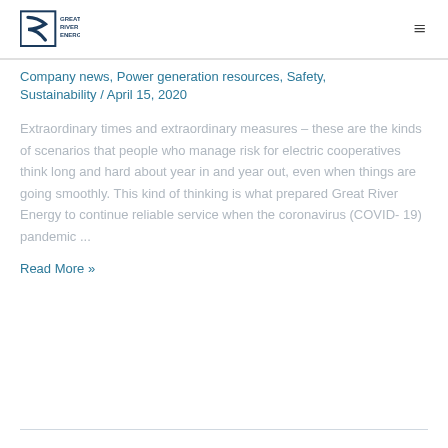Great River Energy logo and navigation
Company news, Power generation resources, Safety, Sustainability / April 15, 2020
Extraordinary times and extraordinary measures – these are the kinds of scenarios that people who manage risk for electric cooperatives think long and hard about year in and year out, even when things are going smoothly. This kind of thinking is what prepared Great River Energy to continue reliable service when the coronavirus (COVID-19) pandemic ...
Read More »